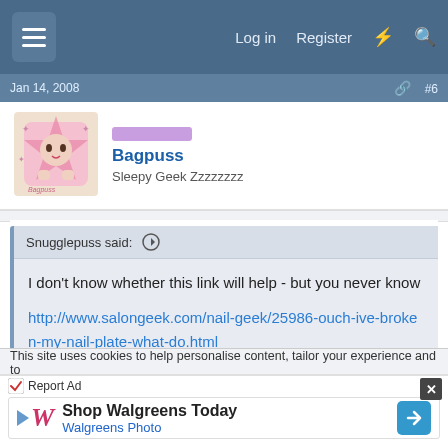Log in   Register
Jan 14, 2008   #6
Bagpuss
Sleepy Geek Zzzzzzzz
Snugglepuss said: ↑

I don't know whether this link will help - but you never know

http://www.salongeek.com/nail-geek/25986-ouch-ive-broken-my-nail-plate-what-do.html

Hope you get it sorted :hug:
This site uses cookies to help personalise content, tailor your experience and to
[Figure (screenshot): Walgreens advertisement: 'Shop Walgreens Today - Walgreens Photo' with Walgreens W logo and blue arrow button]